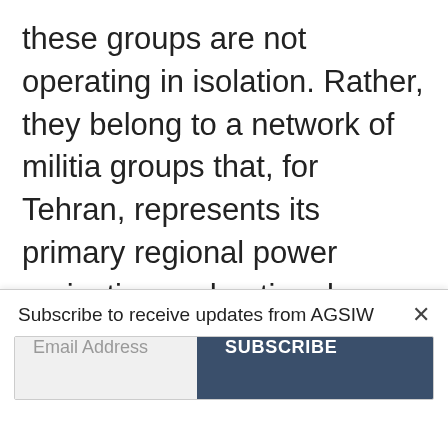these groups are not operating in isolation. Rather, they belong to a network of militia groups that, for Tehran, represents its primary regional power projection and national security tool. For Iran's Gulf Arab neighbors, and much of the rest of the international community, this network of militias that promotes state failure in Arab countries and undermines and usurps the authority of central governments lies at the
Subscribe to receive updates from AGSIW
Email Address
SUBSCRIBE